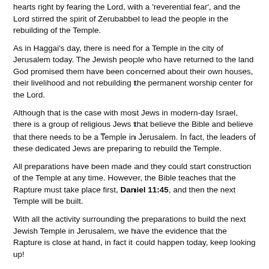hearts right by fearing the Lord, with a 'reverential fear', and the Lord stirred the spirit of Zerubabbel to lead the people in the rebuilding of the Temple.
As in Haggai's day, there is need for a Temple in the city of Jerusalem today. The Jewish people who have returned to the land God promised them have been concerned about their own houses, their livelihood and not rebuilding the permanent worship center for the Lord.
Although that is the case with most Jews in modern-day Israel, there is a group of religious Jews that believe the Bible and believe that there needs to be a Temple in Jerusalem. In fact, the leaders of these dedicated Jews are preparing to rebuild the Temple.
All preparations have been made and they could start construction of the Temple at any time. However, the Bible teaches that the Rapture must take place first, Daniel 11:45, and then the next Temple will be built.
With all the activity surrounding the preparations to build the next Jewish Temple in Jerusalem, we have the evidence that the Rapture is close at hand, in fact it could happen today, keep looking up!
PRAYER THOUGHT: Help me to set my priorities in light of the